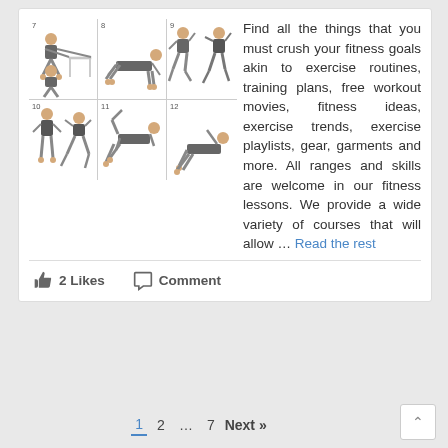[Figure (illustration): Grid of 6 exercise illustrations numbered 7-12. Top row: exercise 7 (chair dips, two poses), exercise 8 (plank/push-up position), exercise 9 (two running/jogging poses). Bottom row: exercise 10 (standing and lunge poses), exercise 11 (push-up with leg raise), exercise 12 (side plank).]
Find all the things that you must crush your fitness goals akin to exercise routines, training plans, free workout movies, fitness ideas, exercise trends, exercise playlists, gear, garments and more. All ranges and skills are welcome in our fitness lessons. We provide a wide variety of courses that will allow ... Read the rest
👍 2 Likes   💬 Comment
1  2  ...  7  Next »